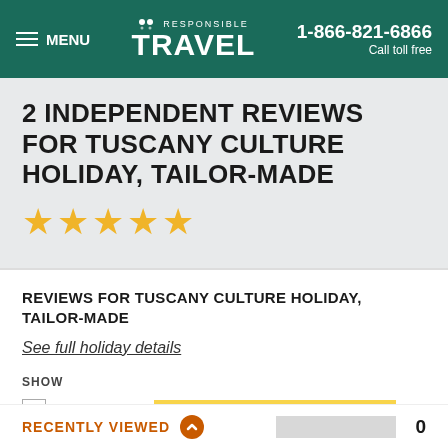MENU | RESPONSIBLE TRAVEL | 1-866-821-6866 Call toll free
2 INDEPENDENT REVIEWS FOR TUSCANY CULTURE HOLIDAY, TAILOR-MADE
REVIEWS FOR TUSCANY CULTURE HOLIDAY, TAILOR-MADE
See full holiday details
SHOW
[Figure (other): Filter bar showing 5-star rating checkbox selected with gold bar indicating 2 reviews, and a gray bar indicating 0 reviews]
RECENTLY VIEWED